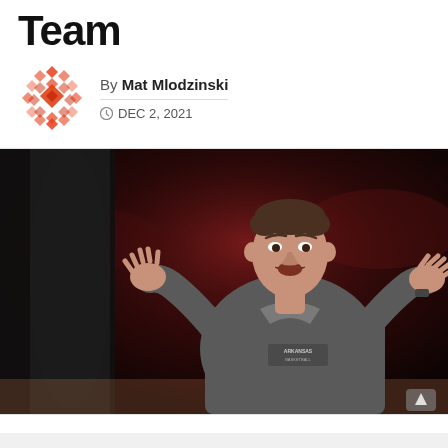Team
By Mat Mlodzinski
DEC 2, 2021
[Figure (photo): Arkansas Basketball coach gesturing with both hands raised, wearing a gray Arkansas Basketball polo shirt, photographed on the court during a game with crowd in background]
[Figure (logo): Red/orange geometric diamond-pattern logo for sports media outlet]